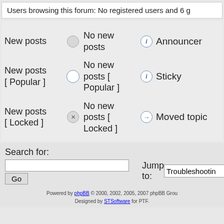Users browsing this forum: No registered users and 6 g
New posts | No new posts | Announcements
New posts [ Popular ] | No new posts [ Popular ] | Sticky
New posts [ Locked ] | No new posts [ Locked ] | Moved topic
Search for:
Jump to: Troubleshootin
Powered by phpBB © 2000, 2002, 2005, 2007 phpBB Grou. Designed by STSoftware for PTF.